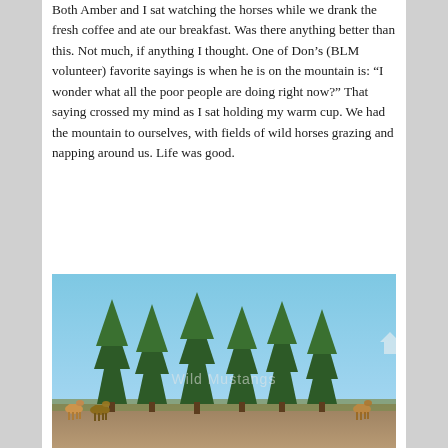Both Amber and I sat watching the horses while we drank the fresh coffee and ate our breakfast.  Was there anything better than this.  Not much, if anything I thought.  One of Don's (BLM volunteer) favorite sayings is when he is on the mountain is: “I wonder what all the poor people are doing right now?”  That saying crossed my mind as I sat holding my warm cup.  We had the mountain to ourselves, with fields of wild horses grazing and napping around us.  Life was good.
[Figure (photo): A photograph of wild horses grazing near a treeline with evergreen trees against a blue sky. The watermark 'Wild Mustangs' or similar text appears on the image.]